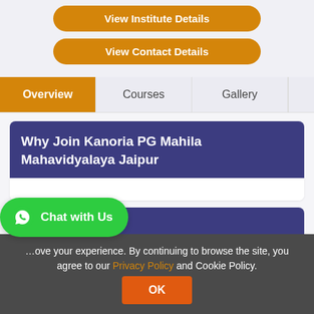[Figure (screenshot): Orange rounded button labeled 'View Institute Details']
[Figure (screenshot): Orange rounded button labeled 'View Contact Details']
Overview | Courses | Gallery
Why Join Kanoria PG Mahila Mahavidyalaya Jaipur
Institute Details
ove your experience. By continuing to browse the site, you agree to our Privacy Policy and Cookie Policy.
[Figure (screenshot): Green Chat with Us button with WhatsApp icon]
OK